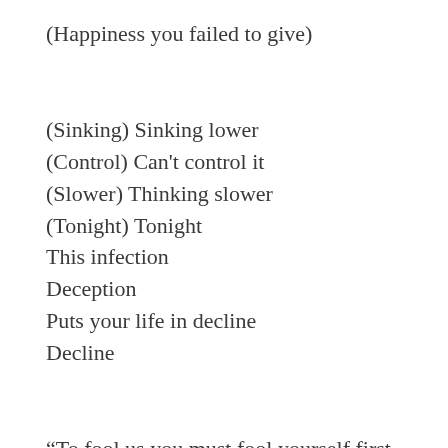(Happiness you failed to give)
(Sinking) Sinking lower
(Control) Can't control it
(Slower) Thinking slower
(Tonight) Tonight
This infection
Deception
Puts your life in decline
Decline
“To fool us you must fool yourself first
How can you possibly believe in yourself?
Somewhere deep inside you must feel regret